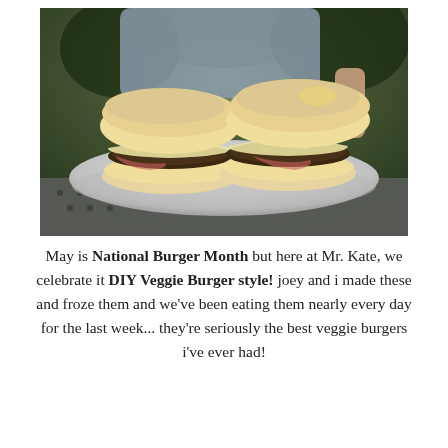[Figure (photo): A person holding a white plate with two veggie burgers on buns, sitting on what appears to be a grill or outdoor table. The burgers have dark patties with melted cheese and sauce visible.]
May is National Burger Month but here at Mr. Kate, we celebrate it DIY Veggie Burger style! joey and i made these and froze them and we've been eating them nearly every day for the last week... they're seriously the best veggie burgers i've ever had!